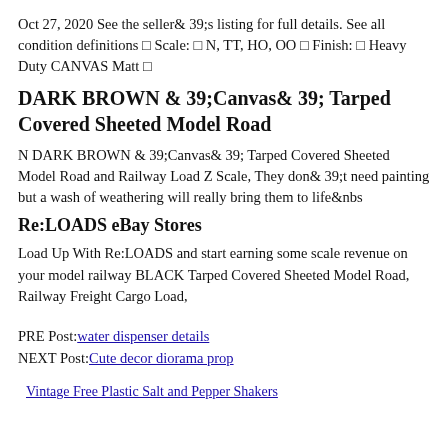Oct 27, 2020 See the seller& 39;s listing for full details. See all condition definitions □ Scale: □ N, TT, HO, OO □ Finish: □ Heavy Duty CANVAS Matt □
DARK BROWN & 39;Canvas& 39; Tarped Covered Sheeted Model Road
N DARK BROWN & 39;Canvas& 39; Tarped Covered Sheeted Model Road and Railway Load Z Scale, They don& 39;t need painting but a wash of weathering will really bring them to life&nbs
Re:LOADS eBay Stores
Load Up With Re:LOADS and start earning some scale revenue on your model railway BLACK Tarped Covered Sheeted Model Road, Railway Freight Cargo Load,
PRE Post:water dispenser details
NEXT Post:Cute decor diorama prop
Vintage Free Plastic Salt and Pepper Shakers